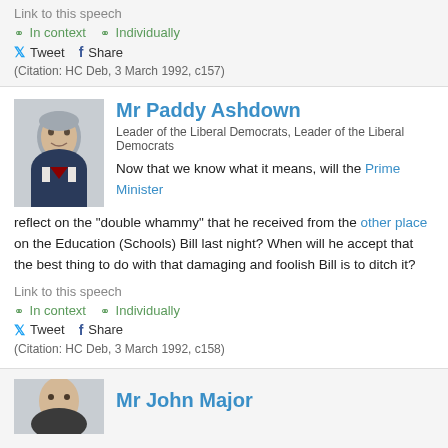Link to this speech
In context   Individually
Tweet   Share
(Citation: HC Deb, 3 March 1992, c157)
Mr Paddy Ashdown
Leader of the Liberal Democrats, Leader of the Liberal Democrats
Now that we know what it means, will the Prime Minister reflect on the "double whammy" that he received from the other place on the Education (Schools) Bill last night? When will he accept that the best thing to do with that damaging and foolish Bill is to ditch it?
Link to this speech
In context   Individually
Tweet   Share
(Citation: HC Deb, 3 March 1992, c158)
Mr John Major